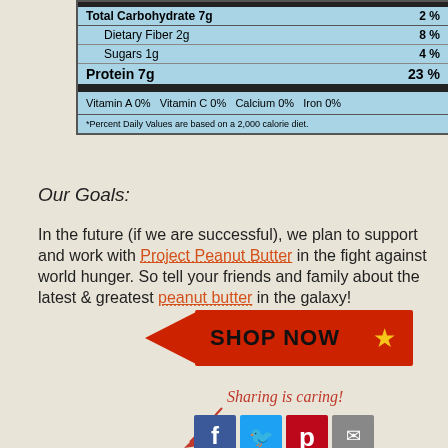| Nutrient | Amount | % Daily Value |
| --- | --- | --- |
| Total Carbohydrate 7g |  | 2% |
| Dietary Fiber 2g |  | 8% |
| Sugars 1g |  | 4% |
| Protein 7g |  | 23% |
| Vitamin A 0%  Vitamin C 0%  Calcium 0%  Iron 0% |  |  |
| *Percent Daily Values are based on a 2,000 calorie diet. |  |  |
Our Goals:
In the future (if we are successful), we plan to support and work with Project Peanut Butter in the fight against world hunger. So tell your friends and family about the latest & greatest peanut butter in the galaxy!
[Figure (infographic): Red banner button with lightning bolt on left, text SHOP NOW in bold black, yellow star on right]
[Figure (infographic): Sharing is caring text in red italic script with arrow curving down to social media icons: Facebook, Twitter, Pinterest, Email]